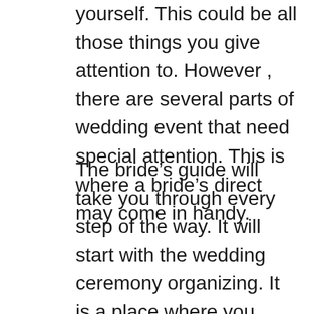yourself. This could be all those things you give attention to. However , there are several parts of wedding event that need special attention. This is where a bride’s direct may come in handy.
The bride’s guide will take you through every step of the way. It will start with the wedding ceremony organizing. It is a place where you could meet and discuss all of the different aspects of your wedding party. You have to discover a location to your wedding ceremony so that you can get the right setting for your guests have fun in themselves.